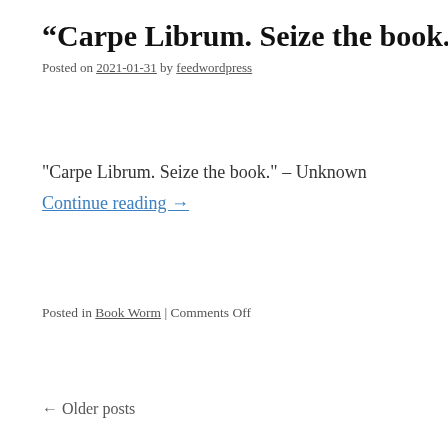“Carpe Librum. Seize the book.” – Unkno
Posted on 2021-01-31 by feedwordpress
"Carpe Librum. Seize the book." – Unknown
Continue reading →
Posted in Book Worm | Comments Off
← Older posts